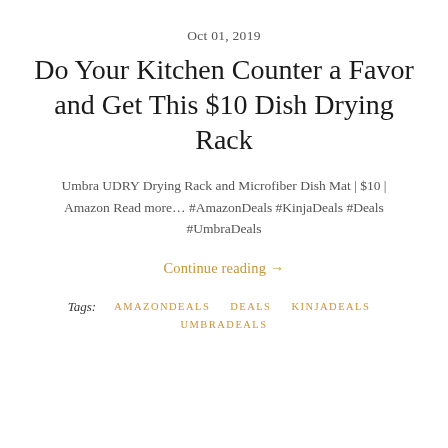Oct 01, 2019
Do Your Kitchen Counter a Favor and Get This $10 Dish Drying Rack
Umbra UDRY Drying Rack and Microfiber Dish Mat | $10 | Amazon Read more... #AmazonDeals #KinjaDeals #Deals #UmbraDeals
Continue reading →
Tags:  AMAZONDEALS  DEALS  KINJADEALS  UMBRADEALS